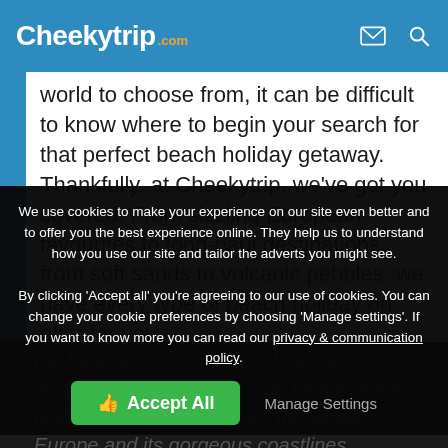Cheekytrip.com
world to choose from, it can be difficult to know where to begin your search for that perfect beach holiday getaway. Thankfully, at Cheekytrip, we've got you covered. From sizzling European favourites to long-haul destinations, from soft sands to volcanic pebbles, we have every type of beach holiday on offer for you.
We use cookies to make your experience on our site even better and to offer you the best experience online. They help us to understand how you use our site and tailor the adverts you might see.
By clicking 'Accept all' you're agreeing to our use of cookies. You can change your cookie preferences by choosing 'Manage settings'. If you want to know more you can read our privacy & communication policy.
Accept All
Manage Settings